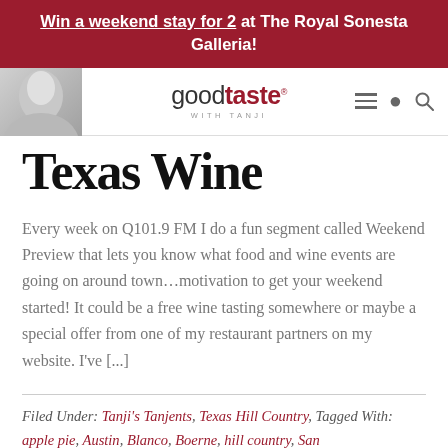Win a weekend stay for 2 at The Royal Sonesta Galleria!
[Figure (logo): Good Taste with Tanji logo and navigation bar with hamburger menu and search icon]
Texas Wine
Every week on Q101.9 FM I do a fun segment called Weekend Preview that lets you know what food and wine events are going on around town...motivation to get your weekend started! It could be a free wine tasting somewhere or maybe a special offer from one of my restaurant partners on my website. I've [...]
Filed Under: Tanji's Tanjents, Texas Hill Country, Tagged With: apple pie, Austin, Blanco, Boerne, hill country, San